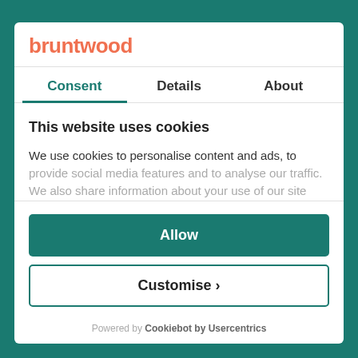bruntwood
Consent
Details
About
This website uses cookies
We use cookies to personalise content and ads, to provide social media features and to analyse our traffic. We also share information about your use of our site
Allow
Customise ›
Powered by Cookiebot by Usercentrics